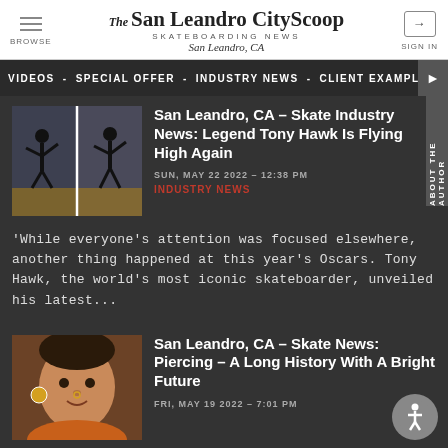The San Leandro CityScoop – SKATEBOARDING NEWS – San Leandro, CA
VIDEOS - SPECIAL OFFER - INDUSTRY NEWS - CLIENT EXAMPLE
San Leandro, CA – Skate Industry News: Legend Tony Hawk Is Flying High Again
SUN, MAY 22 2022 - 12:38 PM
INDUSTRY NEWS
'While everyone's attention was focused elsewhere, another thing happened at this year's Oscars. Tony Hawk, the world's most iconic skateboarder, unveiled his latest...
San Leandro, CA – Skate News: Piercing – A Long History With A Bright Future
FRI, MAY 19 2022 - 7:01 PM